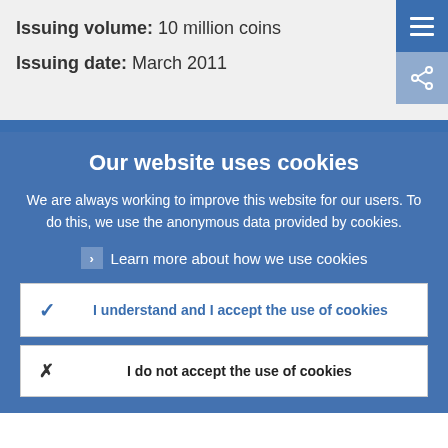Issuing volume: 10 million coins
Issuing date: March 2011
Our website uses cookies
We are always working to improve this website for our users. To do this, we use the anonymous data provided by cookies.
Learn more about how we use cookies
I understand and I accept the use of cookies
I do not accept the use of cookies